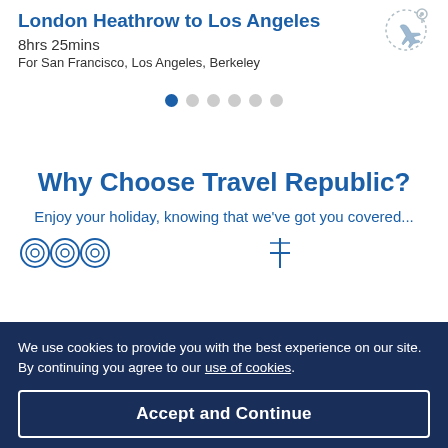London Heathrow to Los Angeles
8hrs 25mins
For San Francisco, Los Angeles, Berkeley
[Figure (illustration): Airplane icon with dotted circular path]
[Figure (infographic): Carousel pagination dots - 6 dots with first one active (blue)]
Why Choose Travel Republic?
Enjoy your holiday, knowing that we've got you covered...
[Figure (illustration): Three circular icons at bottom of page]
We use cookies to provide you with the best experience on our site. By continuing you agree to our use of cookies.
Accept and Continue